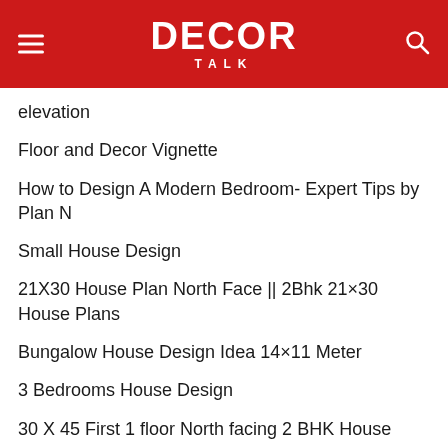DECOR TALK
elevation
Floor and Decor Vignette
How to Design A Modern Bedroom- Expert Tips by Plan N
Small House Design
21X30 House Plan North Face || 2Bhk 21×30 House Plans
Bungalow House Design Idea 14×11 Meter
3 Bedrooms House Design
30 X 45 First 1 floor North facing 2 BHK House